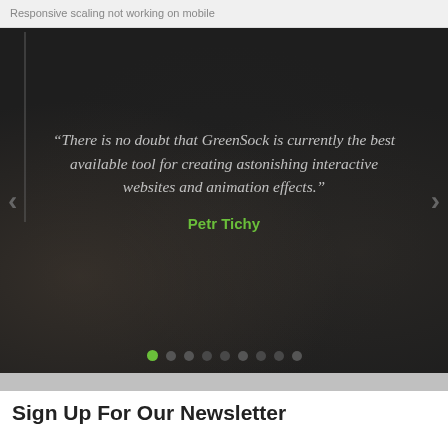Responsive scaling not working on mobile
[Figure (screenshot): Dark-themed testimonial slider showing a quote from Petr Tichy about GreenSock being the best available tool for creating astonishing interactive websites and animation effects. Slider has left/right navigation arrows and 9 pagination dots at the bottom, with the first dot highlighted in green.]
Sign Up For Our Newsletter